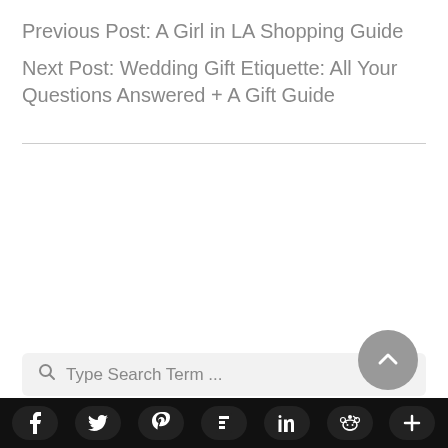Previous Post: A Girl in LA Shopping Guide
Next Post: Wedding Gift Etiquette: All Your Questions Answered + A Gift Guide
Type Search Term ...